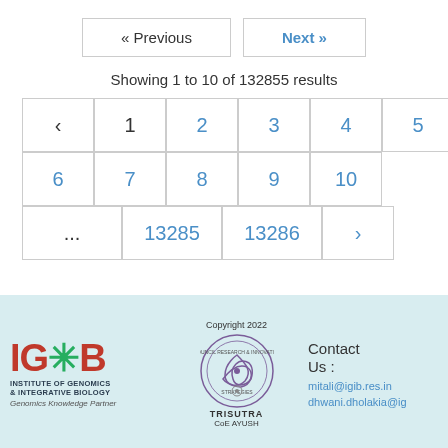« Previous   Next »
Showing 1 to 10 of 132855 results
< 1 2 3 4 5 6 7 8 9 10 ... 13285 13286 >
IGIB | TRISUTRA CoE AYUSH | Copyright 2022 | Contact Us: mitali@igib.res.in dhwani.dholakia@ig...